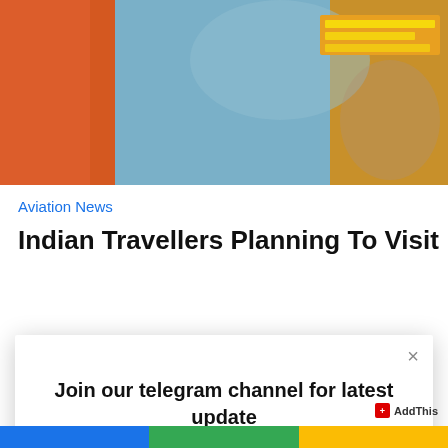[Figure (photo): Photo of travellers at an airport, one wearing a red backpack and a light blue jacket, holding a phone, with an orange departure board in the background]
Aviation News
Indian Travellers Planning To Visit
[Figure (screenshot): Modal popup overlay with close button (×), text 'Join our telegram channel for latest update', and two buttons: 'Yes please!' (dark grey) and 'No, thanks!' (light grey)]
Join our telegram channel for latest update
Yes please!
No, thanks!